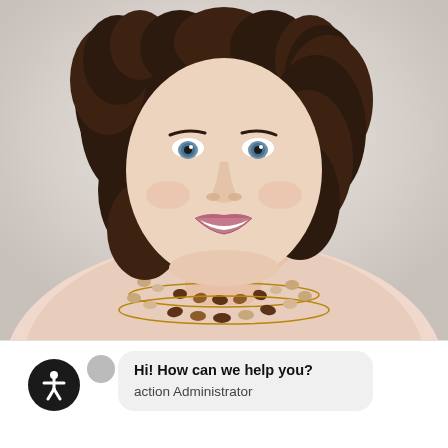[Figure (photo): Professional headshot of a smiling woman with curly dark brown hair, blue eyes, wearing a light pink top and a multi-strand necklace with brown and pearl beads on a gold chain. Background is light/white.]
Hi! How can we help you?
action Administrator